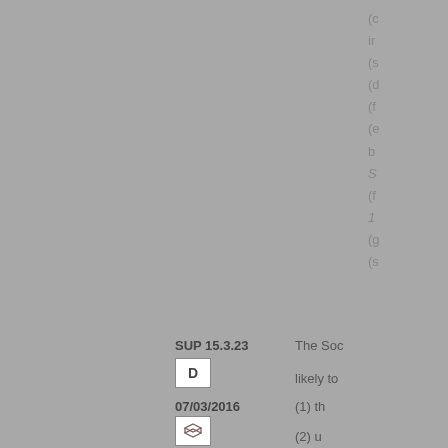(c) in (s) (d (f (e b S (f 1 (g (s
SUP 15.3.23
The Soc
D
likely to
07/03/2016
(1) th
(2) u